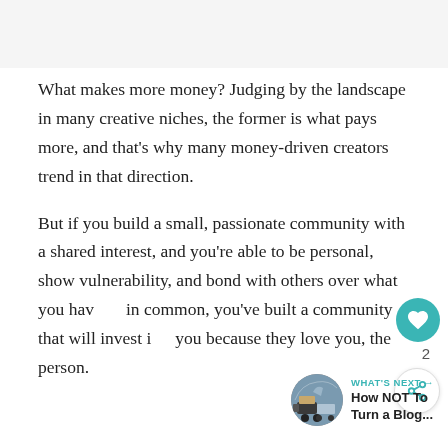[Figure (photo): Gray placeholder image area at top of page]
What makes more money? Judging by the landscape in many creative niches, the former is what pays more, and that's why many money-driven creators trend in that direction.
But if you build a small, passionate community with a shared interest, and you're able to be personal, show vulnerability, and bond with others over what you have in common, you've built a community that will invest in you because they love you, the person.
[Figure (infographic): WHAT'S NEXT arrow label with thumbnail image and text: How NOT To Turn a Blog...]